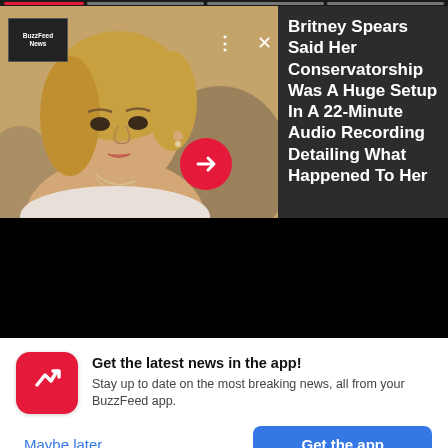[Figure (screenshot): Screenshot of BuzzFeed News app showing a story about Britney Spears with a photo of a blonde woman on the left and headline text on the right, set against a dark background. Progress bar at top, red arrow button, and close/menu icons visible.]
Britney Spears Said Her Conservatorship Was A Huge Setup In A 22-Minute Audio Recording Detailing What Happened To Her
Get the latest news in the app! Stay up to date on the most breaking news, all from your BuzzFeed app.
Maybe later
Get the app